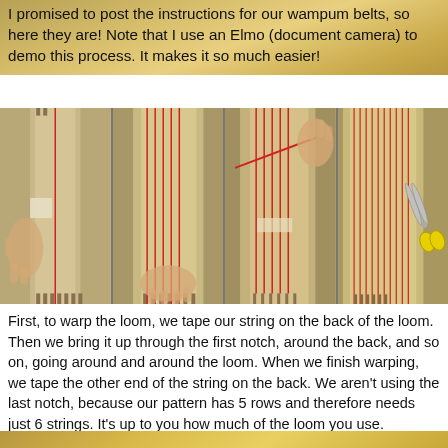I promised to post the instructions for our wampum belts, so here they are! Note that I use an Elmo (document camera) to demo this process. It makes it so much easier!
[Figure (photo): Four photos showing the steps of warping a cardboard loom with red string for making wampum belts. Photo 1: a hand holding a cardboard loom with tape and one red string. Photo 2: the loom with several red strings strung vertically. Photo 3: a hand stretching the red string around the loom with multiple strings visible. Photo 4: the completed warped loom with many red vertical strings and yellow scissors beside it.]
First, to warp the loom, we tape our string on the back of the loom. Then we bring it up through the first notch, around the back, and so on, going around and around the loom. When we finish warping, we tape the other end of the string on the back. We aren't using the last notch, because our pattern has 5 rows and therefore needs just 6 strings. It's up to you how much of the loom you use.